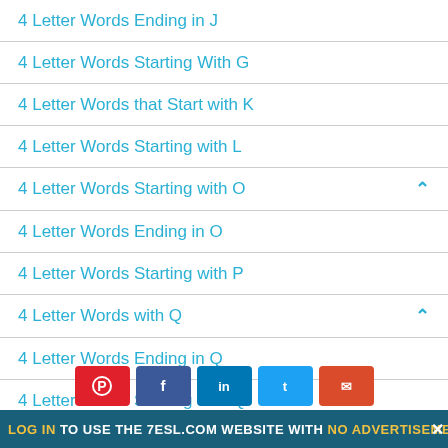4 Letter Words Ending in J
4 Letter Words Starting With G
4 Letter Words that Start with K
4 Letter Words Starting with L
4 Letter Words Starting with O
4 Letter Words Ending in O
4 Letter Words Starting with P
4 Letter Words with Q
4 Letter Words Ending in Q
4 Letter Words Starting with Q
4 Letter Words Starting with R
LOG IN TO USE THE 7ESL.COM WEBSITE WITH NO ADVERTISEMENTS